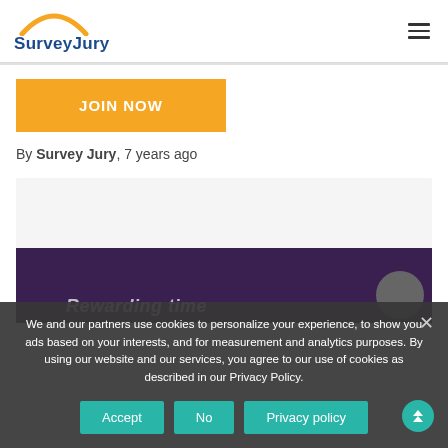[Figure (logo): SurveyJury logo with orange arc above blue text]
[Figure (other): Hamburger menu icon (three horizontal lines)]
[Figure (other): Orange JOIN NOW button]
By Survey Jury, 7 years ago
[Figure (screenshot): White content box with dark background image area showing 'Rewarding time' text and circular logo at bottom right]
We and our partners use cookies to personalize your experience, to show you ads based on your interests, and for measurement and analytics purposes. By using our website and our services, you agree to our use of cookies as described in our Privacy Policy.
[Figure (other): Cookie consent buttons: Accept, No, Privacy policy]